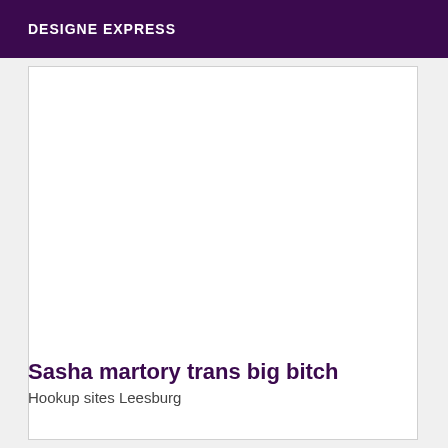DESIGNE EXPRESS
Sasha martory trans big bitch
Hookup sites Leesburg